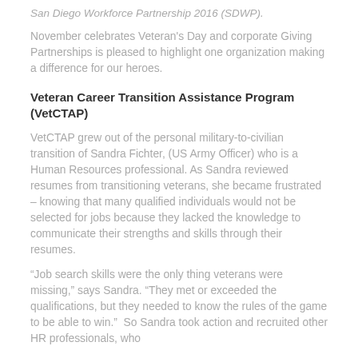San Diego Workforce Partnership 2016 (SDWP).
November celebrates Veteran's Day and corporate Giving Partnerships is pleased to highlight one organization making a difference for our heroes.
Veteran Career Transition Assistance Program (VetCTAP)
VetCTAP grew out of the personal military-to-civilian transition of Sandra Fichter, (US Army Officer) who is a Human Resources professional. As Sandra reviewed resumes from transitioning veterans, she became frustrated – knowing that many qualified individuals would not be selected for jobs because they lacked the knowledge to communicate their strengths and skills through their resumes.
“Job search skills were the only thing veterans were missing,” says Sandra. “They met or exceeded the qualifications, but they needed to know the rules of the game to be able to win.”  So Sandra took action and recruited other HR professionals, who